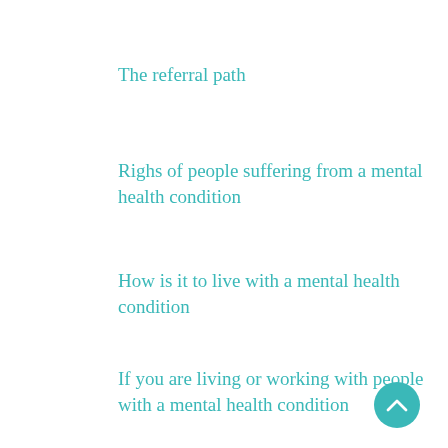The referral path
Righs of people suffering from a mental health condition
How is it to live with a mental health condition
If you are living or working with people with a mental health condition